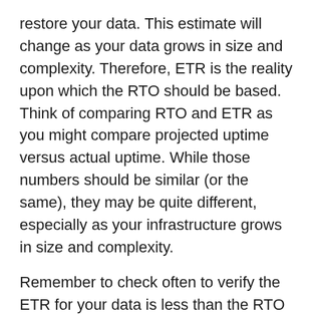restore your data. This estimate will change as your data grows in size and complexity. Therefore, ETR is the reality upon which the RTO should be based. Think of comparing RTO and ETR as you might compare projected uptime versus actual uptime. While those numbers should be similar (or the same), they may be quite different, especially as your infrastructure grows in size and complexity.
Remember to check often to verify the ETR for your data is less than the RTO before disaster strikes. Otherwise, you will not be as prepared as you should be.
Knowing Your Plan
Now that we know the lingo, let's think about the plan itself. Some may consider replication as all that's necessary for successful recovery. It's not that simple—as I stated earlier, agencies should have a robust, comprehensive plan that